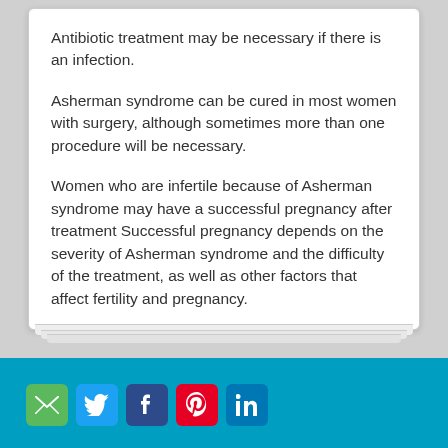Antibiotic treatment may be necessary if there is an infection.
Asherman syndrome can be cured in most women with surgery, although sometimes more than one procedure will be necessary.
Women who are infertile because of Asherman syndrome may have a successful pregnancy after treatment Successful pregnancy depends on the severity of Asherman syndrome and the difficulty of the treatment, as well as other factors that affect fertility and pregnancy.
This information is located on MedlinePlus
[Figure (infographic): Social media sharing icons row: email (green), Twitter (blue), Facebook (dark blue), Pinterest (red), LinkedIn (blue) on a teal/cyan footer bar]